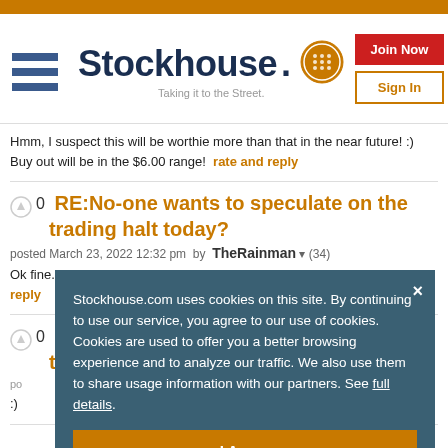[Figure (logo): Stockhouse logo with hamburger menu, coin icon, tagline 'Taking it to the Street.', Join Now and Sign In buttons]
Hmm, I suspect this will be worthie more than that in the near future! :) Buy out will be in the $6.00 range!  rate and reply
RE:No-one wants to speculate on the trading halt today?
posted March 23, 2022 12:32 pm  by  TheRainman  (34)
Ok fine. it's a buy out .  1 dollar per share . In my dreams it is.  rate and reply
No-one wants to speculate on the trading halt today?
Stockhouse.com uses cookies on this site. By continuing to use our service, you agree to our use of cookies. Cookies are used to offer you a better browsing experience and to analyze our traffic. We also use them to share usage information with our partners. See full details.
I Agree